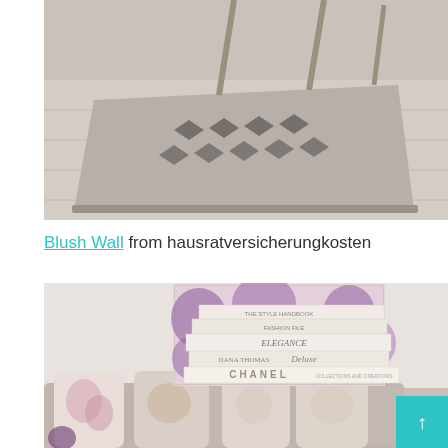[Figure (photo): Top-down view of a geometric patterned rug on light wood flooring with chair legs visible]
Blush Wall from hausratversicherungkosten
[Figure (photo): Wall art showing stacked fashion books including Chanel, Deluxe, Elegance with purple floral background, displayed above a sofa with purple and floral pillows]